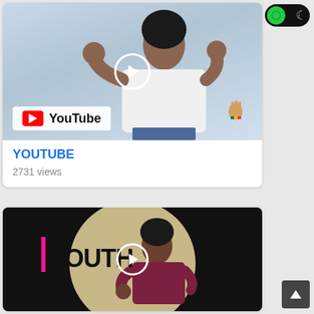[Figure (screenshot): Dark mode toggle switch with green circle on left and moon icon on right, on black background]
[Figure (screenshot): YouTube video thumbnail showing a woman in white lace top making sign language gestures, with YouTube logo overlay and South African flag icon]
YOUTUBE
2731 views
[Figure (screenshot): Video thumbnail showing a woman in maroon top with YOUTH text overlay and play button, displayed in a circular crop on black background]